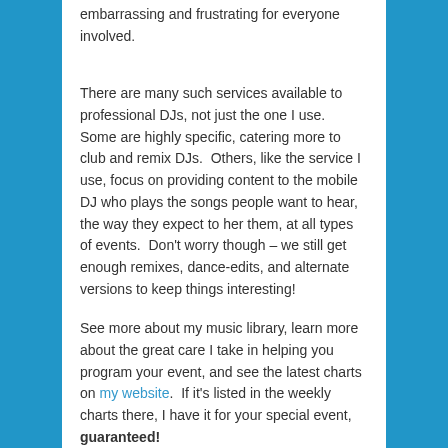embarrassing and frustrating for everyone involved.
There are many such services available to professional DJs, not just the one I use.  Some are highly specific, catering more to club and remix DJs.  Others, like the service I use, focus on providing content to the mobile DJ who plays the songs people want to hear, the way they expect to her them, at all types of events.  Don't worry though – we still get enough remixes, dance-edits, and alternate versions to keep things interesting!
See more about my music library, learn more about the great care I take in helping you program your event, and see the latest charts on my website.  If it's listed in the weekly charts there, I have it for your special event, guaranteed!
Posted in Background Music, DJ Shopping, Music, Uncategorized